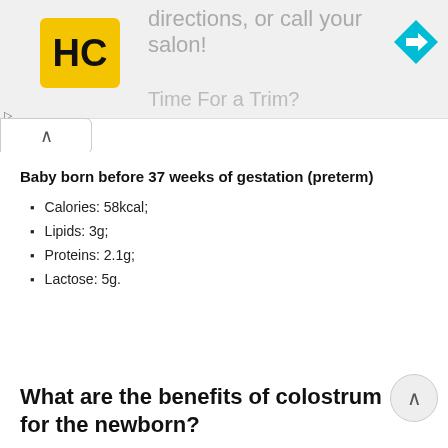[Figure (screenshot): Advertisement banner with HC logo, navigation arrow icon, and partially visible text 'directions, or call your salon!' and 'Time For a Trim?']
Baby born before 37 weeks of gestation (preterm)
Calories: 58kcal;
Lipids: 3g;
Proteins: 2.1g;
Lactose: 5g.
What are the benefits of colostrum for the newborn?